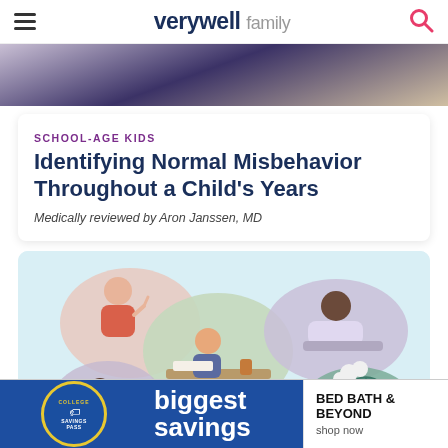verywell family
[Figure (photo): Top portion of a photo showing people, cropped at top of visible area]
SCHOOL-AGE KIDS
Identifying Normal Misbehavior Throughout a Child's Years
Medically reviewed by Aron Janssen, MD
[Figure (illustration): Colorful illustration on light blue background showing various children and adults in thought bubbles depicting misbehavior scenarios]
[Figure (other): Advertisement banner: College Savings Pass - biggest savings - BED BATH & BEYOND - shop now]